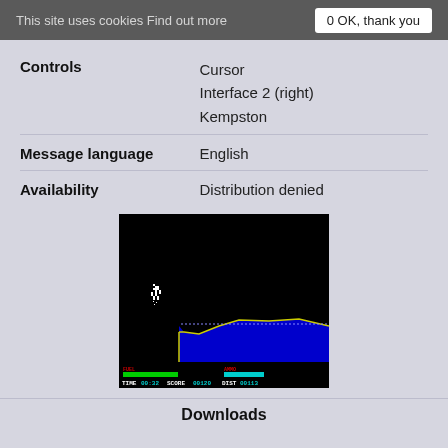This site uses cookies Find out more   0 OK, thank you
| Controls | Cursor
Interface 2 (right)
Kempston |
| Message language | English |
| Availability | Distribution denied |
[Figure (screenshot): ZX Spectrum game screenshot showing a side-scrolling game with a character on the left side, blue terrain with yellow outline in the lower portion, black background, and a HUD bar at the bottom showing FUEL, TIME 00:32, SCORE 00120, AMMO bar, DIST 00113]
Downloads